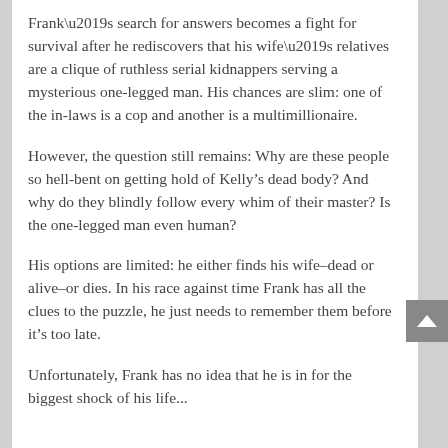Frank’s search for answers becomes a fight for survival after he rediscovers that his wife’s relatives are a clique of ruthless serial kidnappers serving a mysterious one-legged man. His chances are slim: one of the in-laws is a cop and another is a multimillionaire.
However, the question still remains: Why are these people so hell-bent on getting hold of Kelly’s dead body? And why do they blindly follow every whim of their master? Is the one-legged man even human?
His options are limited: he either finds his wife–dead or alive–or dies. In his race against time Frank has all the clues to the puzzle, he just needs to remember them before it’s too late.
Unfortunately, Frank has no idea that he is in for the biggest shock of his life...